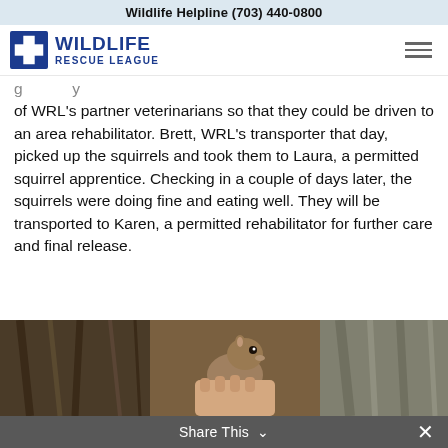Wildlife Helpline (703) 440-0800
[Figure (logo): Wildlife Rescue League logo with blue cross icon and text WILDLIFE RESCUE LEAGUE]
of WRL's partner veterinarians so that they could be driven to an area rehabilitator. Brett, WRL's transporter that day, picked up the squirrels and took them to Laura, a permitted squirrel apprentice. Checking in a couple of days later, the squirrels were doing fine and eating well. They will be transported to Karen, a permitted rehabilitator for further care and final release.
[Figure (photo): Photo strip showing squirrels held in hands against tree bark background]
Share This